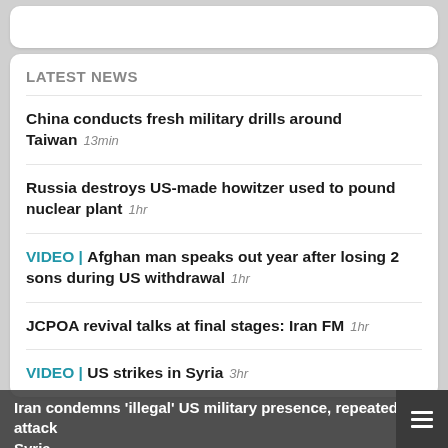LATEST NEWS
China conducts fresh military drills around Taiwan  13min
Russia destroys US-made howitzer used to pound nuclear plant  1hr
VIDEO | Afghan man speaks out year after losing 2 sons during US withdrawal  1hr
JCPOA revival talks at final stages: Iran FM  1hr
VIDEO | US strikes in Syria  3hr
Iran condemns 'illegal' US military presence, repeated attack Syria